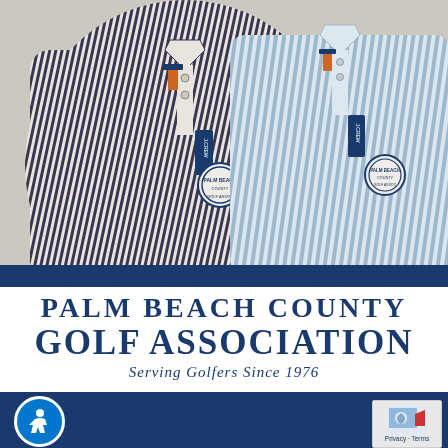[Figure (photo): Two striped golf polo shirts with brand tags laid flat on a light background. One shirt has dark navy/charcoal stripes, the other has lighter blue/grey stripes. Both have an association logo embroidered on the chest and orange/blue price tags attached.]
PALM BEACH COUNTY GOLF ASSOCIATION
Serving Golfers Since 1976
GOLF SHIRTS TOUR TOWELS